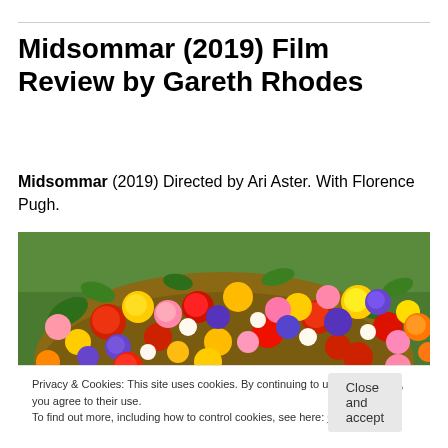Midsommar (2019) Film Review by Gareth Rhodes
Midsommar (2019) Directed by Ari Aster. With Florence Pugh.
[Figure (photo): A person wearing a large, colorful flower crown filled with red, pink, yellow, purple, and white wildflowers. Lush green foliage visible in the background — scene from Midsommar (2019).]
Privacy & Cookies: This site uses cookies. By continuing to use this website, you agree to their use.
To find out more, including how to control cookies, see here: Cookie Policy
Close and accept